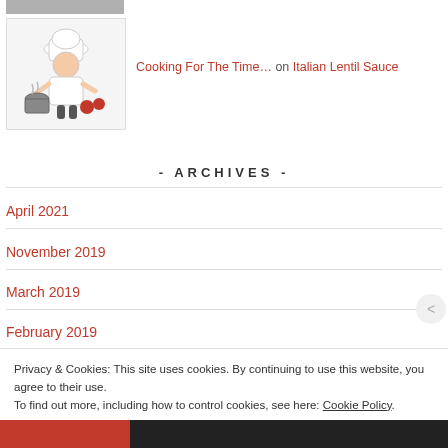[Figure (illustration): Partial top image cropped at top of page (grey/image strip)]
[Figure (illustration): Chef cartoon illustration - chef with hat stirring a pot]
Cooking For The Time… on Italian Lentil Sauce
- ARCHIVES -
April 2021
November 2019
March 2019
February 2019
Privacy & Cookies: This site uses cookies. By continuing to use this website, you agree to their use.
To find out more, including how to control cookies, see here: Cookie Policy
Close and accept